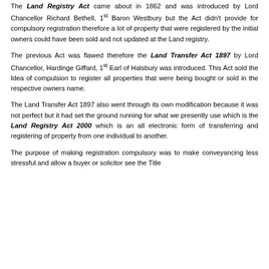The Land Registry Act came about in 1862 and was introduced by Lord Chancellor Richard Bethell, 1st Baron Westbury but the Act didn't provide for compulsory registration therefore a lot of property that were registered by the initial owners could have been sold and not updated at the Land registry.
The previous Act was flawed therefore the Land Transfer Act 1897 by Lord Chancellor, Hardinge Giffard, 1st Earl of Halsbury was introduced. This Act sold the Idea of compulsion to register all properties that were being bought or sold in the respective owners name.
The Land Transfer Act 1897 also went through its own modification because it was not perfect but it had set the ground running for what we presently use which is the Land Registry Act 2000 which is an all electronic form of transferring and registering of property from one individual to another.
The purpose of making registration compulsory was to make conveyancing less stressful and allow a buyer or solicitor see the Title